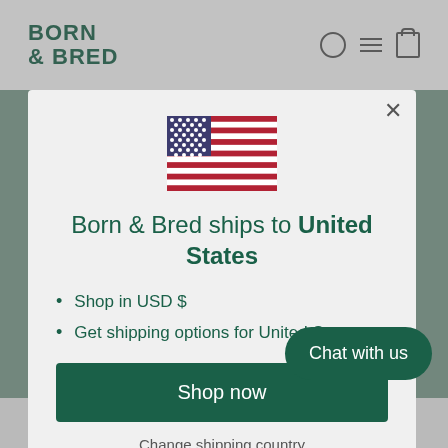[Figure (screenshot): Born & Bred website header with logo and navigation icons (search, menu, cart)]
[Figure (illustration): US flag emoji/icon centered above the modal title]
Born & Bred ships to United States
Shop in USD $
Get shipping options for United States
Shop now
Change shipping country
Chat with us
checkout. You will be notified by phone/email when your items are ready for collection.